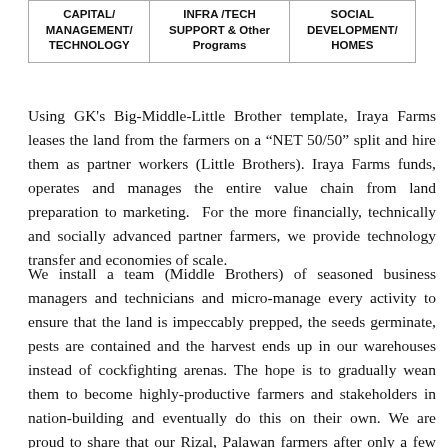| CAPITAL/ MANAGEMENT/ TECHNOLOGY | INFRA /TECH SUPPORT & Other Programs | SOCIAL DEVELOPMENT/ HOMES |
Using GK's Big-Middle-Little Brother template, Iraya Farms leases the land from the farmers on a “NET 50/50” split and hire them as partner workers (Little Brothers). Iraya Farms funds, operates and manages the entire value chain from land preparation to marketing.  For the more financially, technically and socially advanced partner farmers, we provide technology transfer and economies of scale.
We install a team (Middle Brothers) of seasoned business managers and technicians and micro-manage every activity to ensure that the land is impeccably prepped, the seeds germinate, pests are contained and the harvest ends up in our warehouses instead of cockfighting arenas. The hope is to gradually wean them to become highly-productive farmers and stakeholders in nation-building and eventually do this on their own. We are proud to share that our Rizal, Palawan farmers after only a few cycles, they now only need us for technical consultancy. We move to other farmers in the area and beyond.